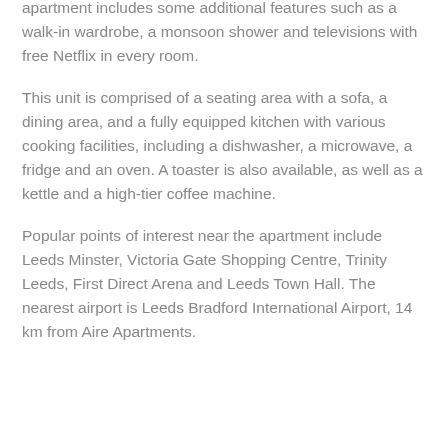apartment includes some additional features such as a walk-in wardrobe, a monsoon shower and televisions with free Netflix in every room.
This unit is comprised of a seating area with a sofa, a dining area, and a fully equipped kitchen with various cooking facilities, including a dishwasher, a microwave, a fridge and an oven. A toaster is also available, as well as a kettle and a high-tier coffee machine.
Popular points of interest near the apartment include Leeds Minster, Victoria Gate Shopping Centre, Trinity Leeds, First Direct Arena and Leeds Town Hall. The nearest airport is Leeds Bradford International Airport, 14 km from Aire Apartments.